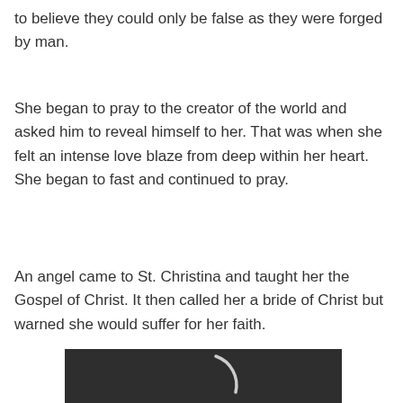to believe they could only be false as they were forged by man.
She began to pray to the creator of the world and asked him to reveal himself to her. That was when she felt an intense love blaze from deep within her heart. She began to fast and continued to pray.
An angel came to St. Christina and taught her the Gospel of Christ. It then called her a bride of Christ but warned she would suffer for her faith.
[Figure (photo): Dark background image (mostly black/dark gray) with a partial curved white arc or symbol visible in the center-right area, appears to be a loading indicator or decorative element.]